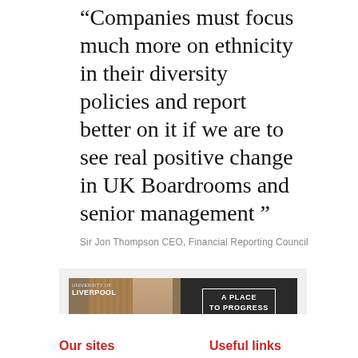“Companies must focus much more on ethnicity in their diversity policies and report better on it if we are to see real positive change in UK Boardrooms and senior management "
Sir Jon Thompson CEO, Financial Reporting Council
[Figure (illustration): University of Liverpool banner advertisement with a man's photo on the left against a wood-paneled background and dark panel on the right reading 'A PLACE TO PROGRESS']
Our sites
Useful links